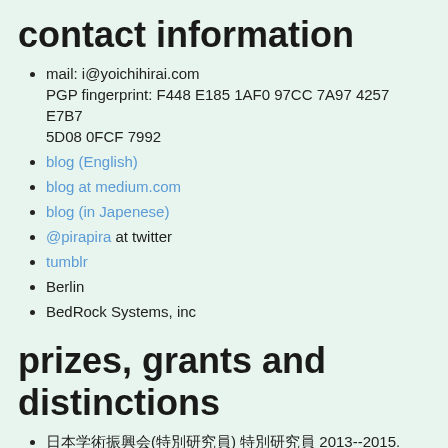contact information
mail: i@yoichihirai.com
PGP fingerprint: F448 E185 1AF0 97CC 7A97 4257 E7B7 5D08 0FCF 7992
blog (English)
blog at medium.com
blog (in Japenese)
@pirapira at twitter
tumblr
Berlin
BedRock Systems, inc
prizes, grants and distinctions
日本学術振興会(特別研究員) 特別研究員 2013--2015.
PPL2013 presentation award.
JSPS Research Fellowships for Young Scientists. 2011--2013.
グローバル21世紀COEプログラム Iプログラム(数理・情報科学)
Dean's Award of Graduate School of Information Science and Technology, The University of Tokyo